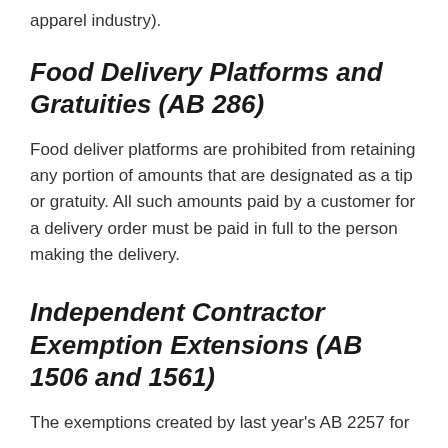apparel industry).
Food Delivery Platforms and Gratuities (AB 286)
Food deliver platforms are prohibited from retaining any portion of amounts that are designated as a tip or gratuity. All such amounts paid by a customer for a delivery order must be paid in full to the person making the delivery.
Independent Contractor Exemption Extensions (AB 1506 and 1561)
The exemptions created by last year's AB 2257 for